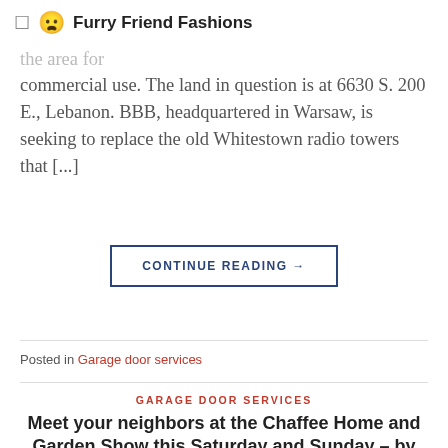Furry Friend Fashions
expand its footprint in Indiana by purchasing 75 acres, which are currently zoned as agricultural and rezoning the area for commercial use. The land in question is at 6630 S. 200 E., Lebanon. BBB, headquartered in Warsaw, is seeking to replace the old Whitestown radio towers that [...]
CONTINUE READING →
Posted in Garage door services
GARAGE DOOR SERVICES
Meet your neighbors at the Chaffee Home and Garden Show this Saturday and Sunday – by Merrell Bergin
POSTED ON APRIL 2, 2022 BY ALYCE T. AMATO